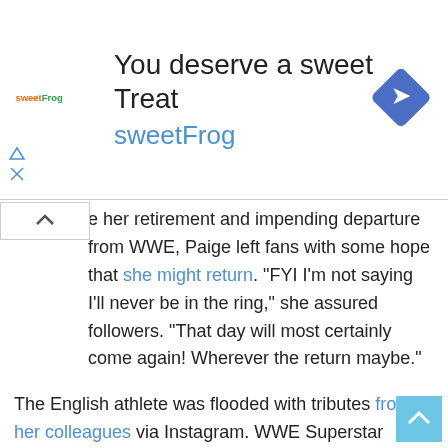[Figure (other): SweetFrog advertisement banner with logo, text 'You deserve a sweet Treat sweetFrog', and a blue diamond navigation icon]
e her retirement and impending departure from WWE, Paige left fans with some hope that she might return. "FYI I'm not saying I'll never be in the ring," she assured followers. "That day will most certainly come again! Wherever the return maybe."
The English athlete was flooded with tributes from her colleagues via Instagram. WWE Superstar Mandy Rose wrote, "Love you @realpaigewwe thanks for everything you've done for this business and me personally. You've always looked out for me and it was such an honor to come full circle with you from tough enough to absolution. You're amazing and will always inspire so many people out there."